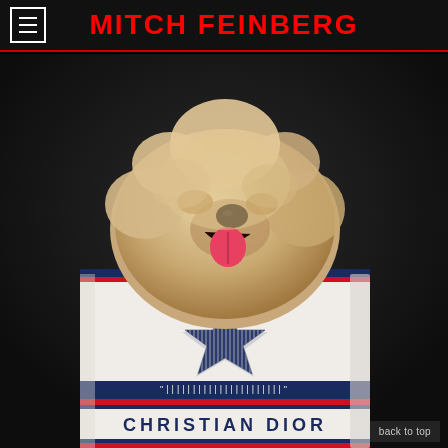MITCH FEINBERG
[Figure (photo): A fluffy light-colored dog peeking out from inside a white Christian Dior Book Tote bag with navy blue star and stripe pattern and red-white-blue handles, photographed against a dark background by photographer Mitch Feinberg.]
back to top